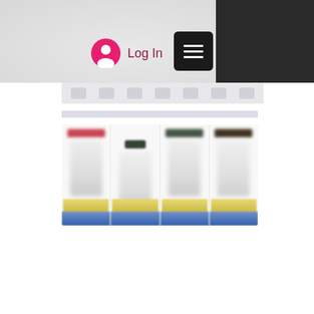[Figure (screenshot): Mobile app/website UI screenshot showing a light grey textured background at top left with a dark panel at top right. A 'Log In' button with a pink user icon appears centrally. A hamburger menu button (black square with three white lines) is shown to the right. Below is a blurred navigation bar and a product listing showing four blurred product cards with coloured labels at top and yellow/blue banding at bottom.]